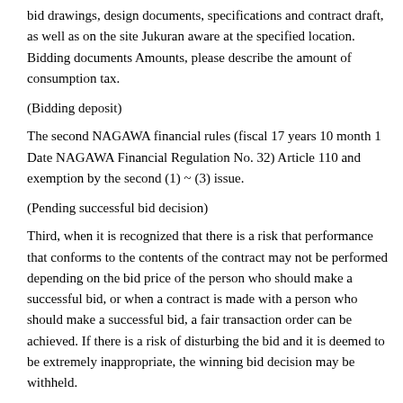bid drawings, design documents, specifications and contract draft, as well as on the site Jukuran aware at the specified location. Bidding documents Amounts, please describe the amount of consumption tax.
(Bidding deposit)
The second NAGAWA financial rules (fiscal 17 years 10 month 1 Date NAGAWA Financial Regulation No. 32) Article 110 and exemption by the second (1) ~ (3) issue.
(Pending successful bid decision)
Third, when it is recognized that there is a risk that performance that conforms to the contents of the contract may not be performed depending on the bid price of the person who should make a successful bid, or when a contract is made with a person who should make a successful bid, a fair transaction order can be achieved. If there is a risk of disturbing the bid and it is deemed to be extremely inappropriate, the winning bid decision may be withheld.
Period that are pending successful bid determined by the 2 preceding paragraph, bidders will not be able to withdraw its application.